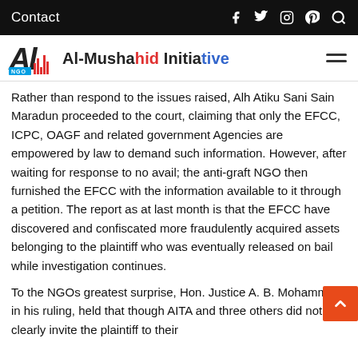Contact
[Figure (logo): Al-Mushahid Initiative logo with stylized 'Al' monogram and NGO text, followed by brand name 'Al-Mushahid Initiative' in mixed black, red, and blue text]
Rather than respond to the issues raised, Alh Atiku Sani Sain Maradun proceeded to the court, claiming that only the EFCC, ICPC, OAGF and related government Agencies are empowered by law to demand such information. However, after waiting for response to no avail; the anti-graft NGO then furnished the EFCC with the information available to it through a petition. The report as at last month is that the EFCC have discovered and confiscated more fraudulently acquired assets belonging to the plaintiff who was eventually released on bail while investigation continues.
To the NGOs greatest surprise, Hon. Justice A. B. Mohammed in his ruling, held that though AITA and three others did not clearly invite the plaintiff to their